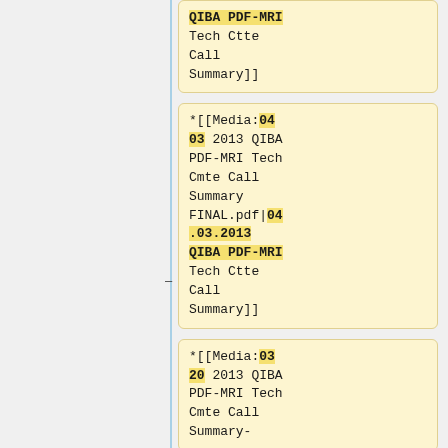QIBA PDF-MRI Tech Ctte Call Summary]]
*[[Media:04 03 2013 QIBA PDF-MRI Tech Cmte Call Summary FINAL.pdf|04.03.2013 QIBA PDF-MRI Tech Ctte Call Summary]]
*[[Media:03 20 2013 QIBA PDF-MRI Tech Cmte Call Summary-